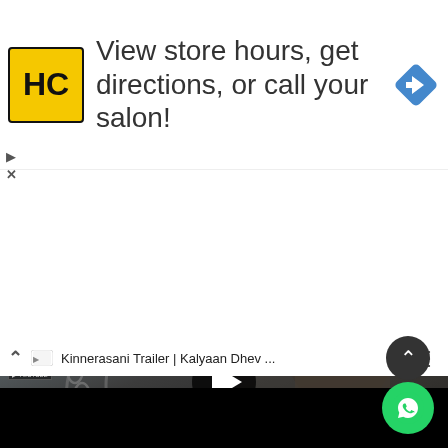[Figure (screenshot): Advertisement banner: HC salon logo (yellow/black), text 'View store hours, get directions, or call your salon!', blue navigation arrow icon on the right. Ad controls (play/close) at bottom left.]
[Figure (screenshot): YouTube mini-player showing Kinnerasani movie trailer thumbnail. Top bar: chevron up, YouTube icon, title 'Kinnerasani Trailer | Kalyaan Dhev ...', three-dot menu. Thumbnail shows movie poster with Telugu script title, actor with beard, chains background, 'TRAILER OUT NOW' text in orange and white, play button overlay. Bottom bar is black. Scroll-up button and WhatsApp floating button visible.]